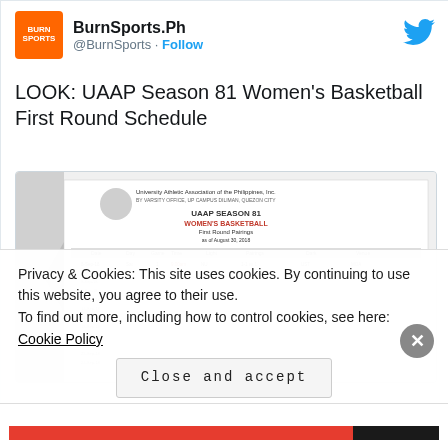[Figure (screenshot): Tweet from @BurnSports showing BurnSports.Ph logo, Twitter bird icon, account handle, follow button, tweet text about UAAP Season 81 Women's Basketball First Round Schedule, and an embedded schedule image]
BurnSports.Ph
@BurnSports · Follow
LOOK: UAAP Season 81 Women's Basketball First Round Schedule
[Figure (screenshot): UAAP Season 81 Women's Basketball First Round Pairings schedule table]
Privacy & Cookies: This site uses cookies. By continuing to use this website, you agree to their use.
To find out more, including how to control cookies, see here: Cookie Policy
Close and accept